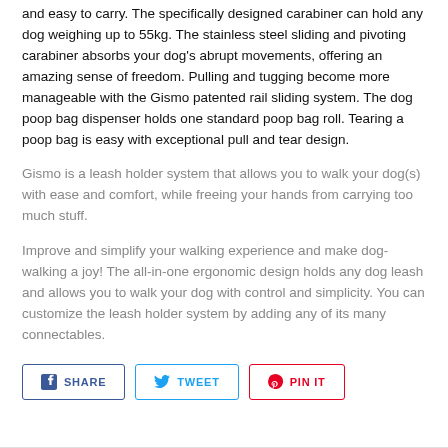and easy to carry. The specifically designed carabiner can hold any dog weighing up to 55kg. The stainless steel sliding and pivoting carabiner absorbs your dog's abrupt movements, offering an amazing sense of freedom. Pulling and tugging become more manageable with the Gismo patented rail sliding system. The dog poop bag dispenser holds one standard poop bag roll. Tearing a poop bag is easy with exceptional pull and tear design.
Gismo is a leash holder system that allows you to walk your dog(s) with ease and comfort, while freeing your hands from carrying too much stuff.
Improve and simplify your walking experience and make dog-walking a joy! The all-in-one ergonomic design holds any dog leash and allows you to walk your dog with control and simplicity. You can customize the leash holder system by adding any of its many connectables.
[Figure (other): Social sharing buttons: SHARE (Facebook), TWEET (Twitter), PIN IT (Pinterest)]